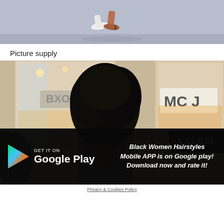[Figure (photo): Partial photo showing feet/shoes on a sidewalk, cropped at top of page]
Picture supply
[Figure (photo): Woman with large natural afro updo hairstyle standing in front of a store with glass windows showing reflections, wearing sunglasses]
X CLOSE
GET IT ON Google Play
Black Women Hairstyles Mobile APP is on Google play! Download now and rate it!
Privacy & Cookies Policy